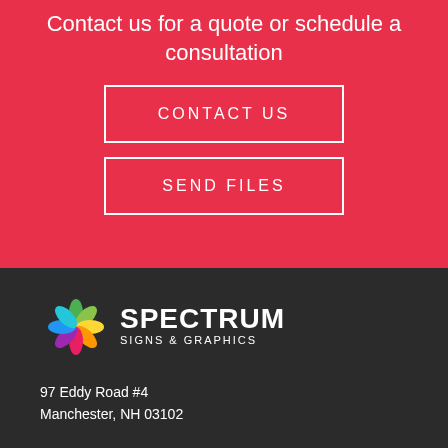Contact us for a quote or schedule a consultation
CONTACT US
SEND FILES
[Figure (logo): Spectrum Signs & Graphics logo with colorful flower/pinwheel icon and white text]
97 Eddy Road #4
Manchester, NH 03102